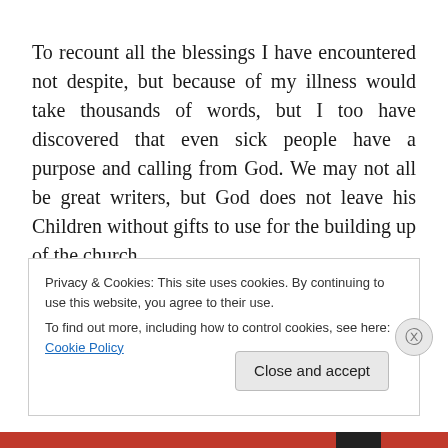To recount all the blessings I have encountered not despite, but because of my illness would take thousands of words, but I too have discovered that even sick people have a purpose and calling from God. We may not all be great writers, but God does not leave his Children without gifts to use for the building up of the church.
So if you're sick, or tired or you find yourself in circumstances that you never would have chosen, do not, on top of all that, despair that you have no earthly use or
Privacy & Cookies: This site uses cookies. By continuing to use this website, you agree to their use.
To find out more, including how to control cookies, see here: Cookie Policy